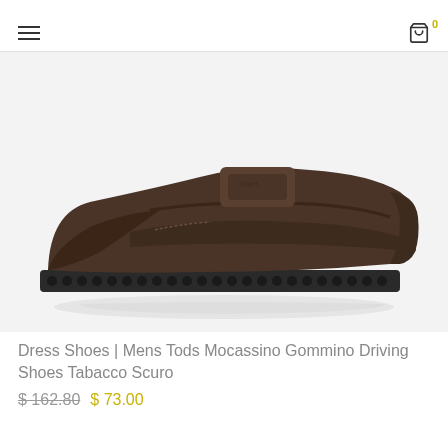≡  🛒 0
[Figure (photo): Side profile of a dark brown Tod's Mocassino Gommino driving loafer shoe with rubber pebble sole, on a light gray background.]
Dress Shoes | Mens Tods Mocassino Gommino Driving Shoes Tabacco Scuro
$ 162.80  $ 73.00